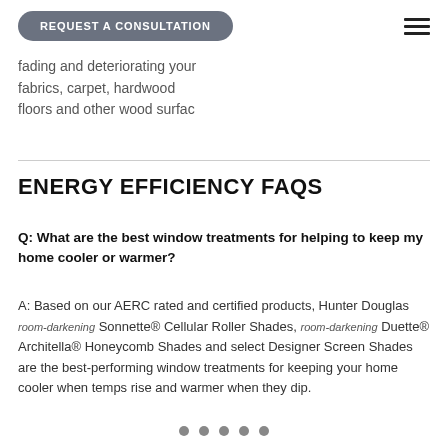REQUEST A CONSULTATION
fading and deteriorating your fabrics, carpet, hardwood floors and other wood surfac
ENERGY EFFICIENCY FAQS
Q: What are the best window treatments for helping to keep my home cooler or warmer?
A: Based on our AERC rated and certified products, Hunter Douglas room-darkening Sonnette® Cellular Roller Shades, room-darkening Duette® Architella® Honeycomb Shades and select Designer Screen Shades are the best-performing window treatments for keeping your home cooler when temps rise and warmer when they dip.